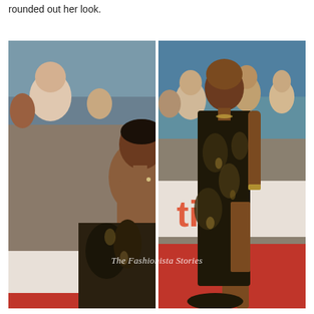rounded out her look.
[Figure (photo): Two side-by-side red carpet photos of a woman wearing a dark sequined/embroidered one-shoulder gown with a high slit. Left photo shows her back and profile; right photo shows her front full-length pose at what appears to be TIFF (Toronto International Film Festival). Watermark reads 'The Fashionista Stories'.]